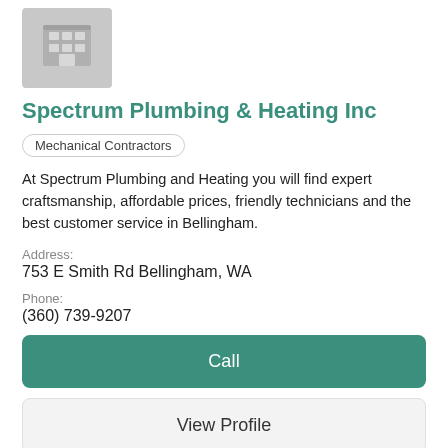[Figure (logo): Gray building/office icon placeholder]
Spectrum Plumbing & Heating Inc
Mechanical Contractors
At Spectrum Plumbing and Heating you will find expert craftsmanship, affordable prices, friendly technicians and the best customer service in Bellingham.
Address:
753 E Smith Rd Bellingham, WA
Phone:
(360) 739-9207
Call
View Profile
[Figure (logo): Gray mechanical/heating appliance icon placeholder]